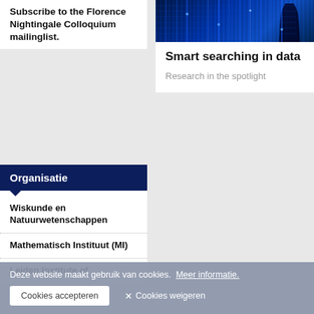Subscribe to the Florence Nightingale Colloquium mailinglist.
Smart searching in data
Research in the spotlight
Organisatie
Wiskunde en Natuurwetenschappen
Mathematisch Instituut (MI)
Leiden Institute of
Advanced Computer
Deze website maakt gebruik van cookies. Meer informatie.
Cookies accepteren
✕ Cookies weigeren
Data Science Research